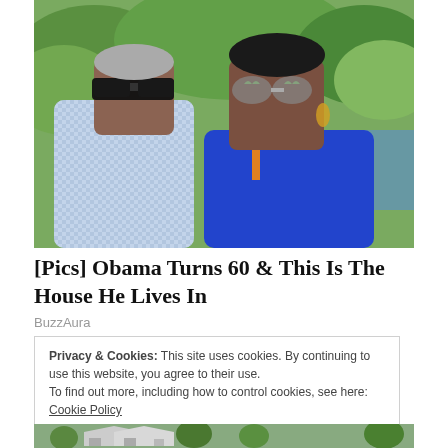[Figure (photo): Two people wearing sunglasses outdoors with lush green trees in the background. The person on the left wears a blue checked shirt; the person on the right wears a blue top and silver heart-shaped sunglasses.]
[Pics] Obama Turns 60 & This Is The House He Lives In
BuzzAura
Privacy & Cookies: This site uses cookies. By continuing to use this website, you agree to their use.
To find out more, including how to control cookies, see here: Cookie Policy
[Figure (photo): Partial view of a house with a porch and green trees, bottom of page.]